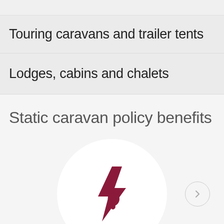Touring caravans and trailer tents
Lodges, cabins and chalets
Static caravan policy benefits
[Figure (illustration): Icon of a lightning bolt and flame in dark red/maroon colour inside a white circle, representing fire and electrical hazard coverage. A right-arrow navigation button is shown to the right.]